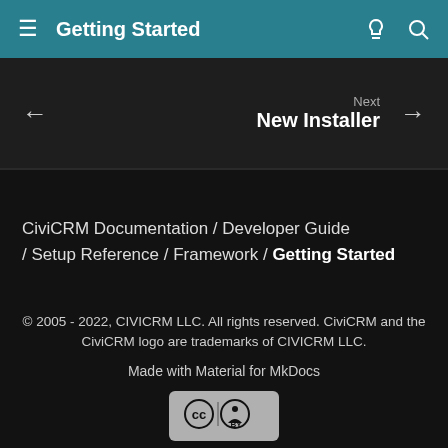Getting Started
Next
New Installer
CiviCRM Documentation / Developer Guide / Setup Reference / Framework / Getting Started
© 2005 - 2022, CIVICRM LLC. All rights reserved. CiviCRM and the CiviCRM logo are trademarks of CIVICRM LLC.
Made with Material for MkDocs
Except where otherwise noted, content on this site is licensed under a Creative Commons Attribution 3.0 United States License.